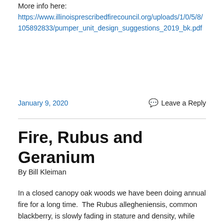More info here:
https://www.illinoisprescribedfirecouncil.org/uploads/1/0/5/8/105892833/pumper_unit_design_suggestions_2019_bk.pdf
January 9, 2020
Leave a Reply
Fire, Rubus and Geranium
By Bill Kleiman
In a closed canopy oak woods we have been doing annual fire for a long time.  The Rubus allegheniensis, common blackberry, is slowly fading in stature and density, while the